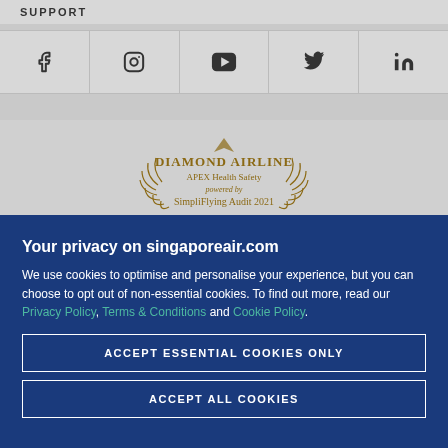SUPPORT
[Figure (infographic): Social media icons row: Facebook, Instagram, YouTube, Twitter, LinkedIn]
[Figure (logo): Diamond Airline APEX Health Safety powered by SimpliFlying Audit 2021 badge]
[Figure (infographic): 5-star airline rating with stars]
Your privacy on singaporeair.com
We use cookies to optimise and personalise your experience, but you can choose to opt out of non-essential cookies. To find out more, read our Privacy Policy, Terms & Conditions and Cookie Policy.
ACCEPT ESSENTIAL COOKIES ONLY
ACCEPT ALL COOKIES
SINGAPORE AIRLINES GROUP